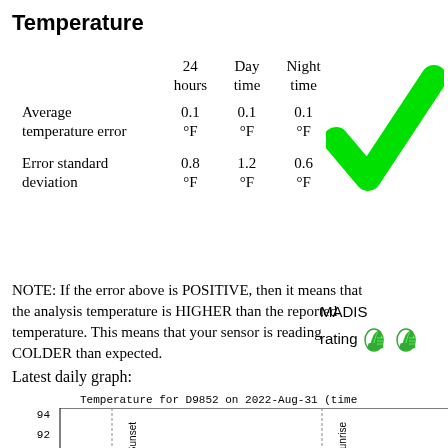Temperature
|  | 24 hours | Day time | Night time |
| --- | --- | --- | --- |
| Average temperature error | 0.1 °F | 0.1 °F | 0.1 °F |
| Error standard deviation | 0.8 °F | 1.2 °F | 0.6 °F |
[Figure (illustration): Large green checkmark indicating passing/good status]
NOTE: If the error above is POSITIVE, then it means that the analysis temperature is HIGHER than the reported temperature. This means that your sensor is reading COLDER than expected.
[Figure (illustration): MADIS rating with two green thumbs-up icons]
Latest daily graph:
Temperature for D9852 on 2022-Aug-31 (time
[Figure (continuous-plot): Temperature graph for D9852 on 2022-Aug-31, y-axis showing 92-94 range, with Sunset and Sunrise vertical markers]